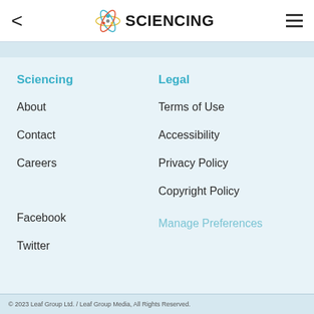< SCIENCING ≡
Sciencing
Legal
About
Terms of Use
Contact
Accessibility
Careers
Privacy Policy
Copyright Policy
Facebook
Manage Preferences
Twitter
© 2023 Leaf Group Ltd. / Leaf Group Media, All Rights Reserved.